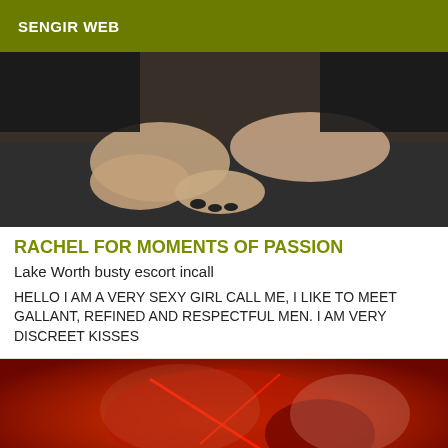SENGIR WEB
[Figure (photo): Close-up photo of a person with dark nail polish on their hands, wearing a black top, seated on a dark sofa.]
RACHEL FOR MOMENTS OF PASSION
Lake Worth busty escort incall
HELLO I AM A VERY SEXY GIRL CALL ME, I LIKE TO MEET GALLANT, REFINED AND RESPECTFUL MEN. I AM VERY DISCREET KISSES
[Figure (photo): Photo of a person wearing red lingerie against a red-tinted background.]